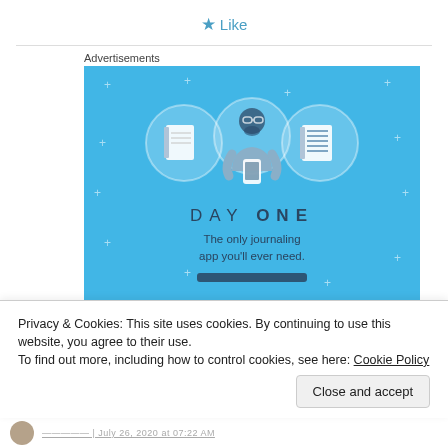★ Like
Advertisements
[Figure (illustration): Day One journaling app advertisement on a blue background. Shows three circular icons (blank notebook, person holding phone, lined notebook) and text 'DAY ONE – The only journaling app you'll ever need.' with a dark button.]
Privacy & Cookies: This site uses cookies. By continuing to use this website, you agree to their use.
To find out more, including how to control cookies, see here: Cookie Policy
Close and accept